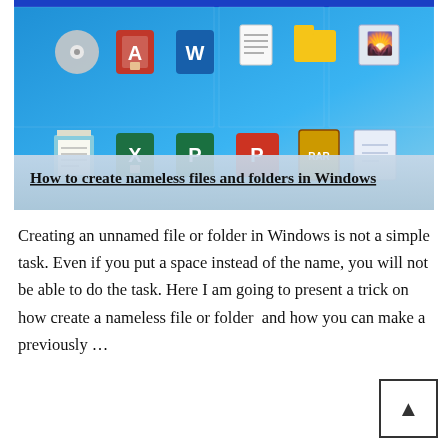[Figure (screenshot): Windows desktop screenshot showing file type icons (Access, Word, document, folder, image, notepad, Excel, Publisher, PowerPoint, WinRAR, blueprint) on a blue Windows desktop background, with title overlay 'How to create nameless files and folders in Windows' in bold underlined black text on a semi-transparent white banner at the bottom.]
Creating an unnamed file or folder in Windows is not a simple task. Even if you put a space instead of the name, you will not be able to do the task. Here I am going to present a trick on how create a nameless file or folder  and how you can make a previously …